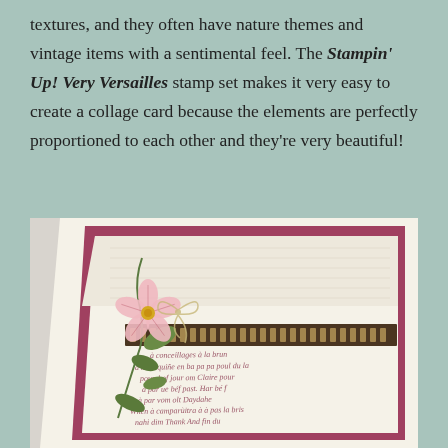textures, and they often have nature themes and vintage items with a sentimental feel. The Stampin' Up! Very Versailles stamp set makes it very easy to create a collage card because the elements are perfectly proportioned to each other and they're very beautiful!
[Figure (photo): A handmade greeting card featuring vintage French script stamping, a pink flower with green stem and leaves, a decorative border strip, and a twine bow, all layered on cream and deep rose cardstock.]